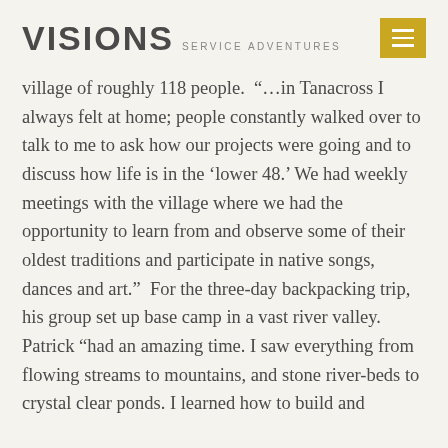VISIONS SERVICE ADVENTURES
village of roughly 118 people.  “…in Tanacross I always felt at home; people constantly walked over to talk to me to ask how our projects were going and to discuss how life is in the ‘lower 48.’ We had weekly meetings with the village where we had the opportunity to learn from and observe some of their oldest traditions and participate in native songs, dances and art.”  For the three-day backpacking trip, his group set up base camp in a vast river valley. Patrick “had an amazing time. I saw everything from flowing streams to mountains, and stone river-beds to crystal clear ponds. I learned how to build and